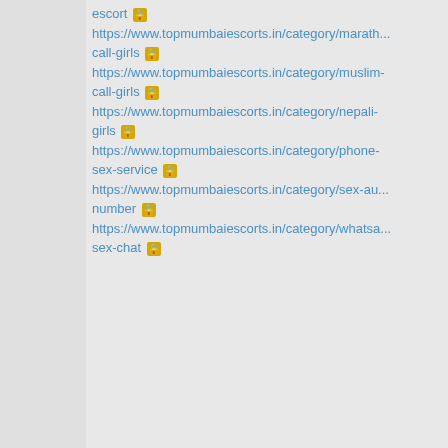escort https://www.topmumbaiescorts.in/category/marath... call-girls https://www.topmumbaiescorts.in/category/muslim-call-girls https://www.topmumbaiescorts.in/category/nepali-girls https://www.topmumbaiescorts.in/category/phone-sex-service https://www.topmumbaiescorts.in/category/sex-au...number https://www.topmumbaiescorts.in/category/whatsa...sex-chat
Forum >> Hardware Issues >> Broken Finger Motor
Jump to page 1 | Prev 16 | 384 | 385 | 386 | 387 | 388 | Next 16 | Last
[Figure (screenshot): Forum text editor toolbar with Bold, Italic, Font, and emoji formatting buttons, plus a row of emoji/smiley face icons]